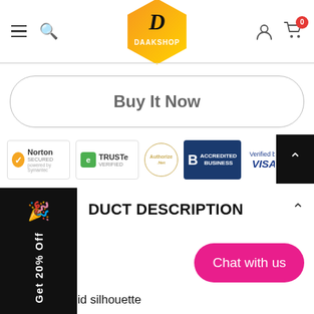[Figure (logo): DAAKSHOP logo - hexagonal shape with orange-to-yellow gradient, letter D in cursive, white text DAAKSHOP below]
[Figure (screenshot): Buy It Now rounded button outline]
[Figure (infographic): Trust badges row: Norton Secured, TRUSTe Verified, Authorize.Net, BBB Accredited Business, Verified by VISA, Mastercard SecureCode]
[Figure (infographic): Black sidebar Get 20% Off coupon tab with party popper icon]
DUCT DESCRIPTION
[Figure (screenshot): Chat with us pink rounded button]
•Loose fit solid silhouette